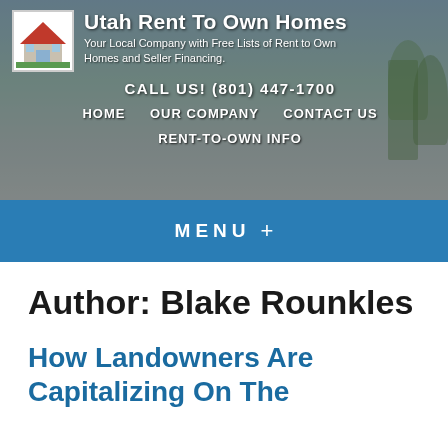[Figure (screenshot): Utah Rent To Own Homes website header with house background photo, logo icon, site title, subtitle, phone number, and navigation links]
Utah Rent To Own Homes
Your Local Company with Free Lists of Rent to Own Homes and Seller Financing.
CALL US! (801) 447-1700
HOME   OUR COMPANY   CONTACT US
RENT-TO-OWN INFO
MENU +
Author: Blake Rounkles
How Landowners Are Capitalizing On The